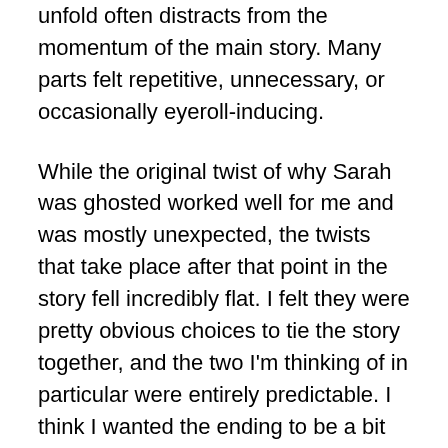unfold often distracts from the momentum of the main story. Many parts felt repetitive, unnecessary, or occasionally eyeroll-inducing.
While the original twist of why Sarah was ghosted worked well for me and was mostly unexpected, the twists that take place after that point in the story fell incredibly flat. I felt they were pretty obvious choices to tie the story together, and the two I'm thinking of in particular were entirely predictable. I think I wanted the ending to be a bit darker rather than being packaged up so nice and neat, but I have to remind myself that this was meant to be a romance.